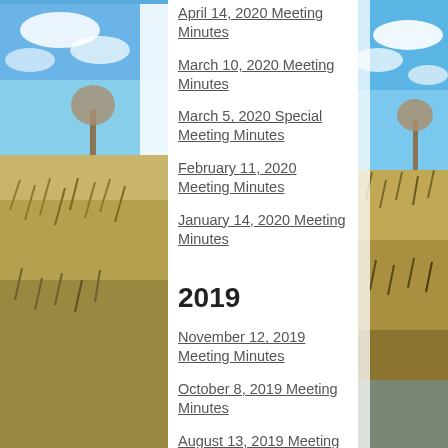[Figure (photo): Left decorative photo strip showing blue sky and marsh grasses/reeds, with a tree visible]
April 14, 2020 Meeting Minutes
March 10, 2020 Meeting Minutes
March 5, 2020 Special Meeting Minutes
February 11, 2020 Meeting Minutes
January 14, 2020 Meeting Minutes
2019
November 12, 2019 Meeting Minutes
October 8, 2019 Meeting Minutes
August 13, 2019 Meeting Minutes
February 19, 2019 Meeting Minutes
January 15, 2019 Meeting Minutes
2018
[Figure (photo): Right decorative photo strip showing blue sky and marsh/wetland landscape]